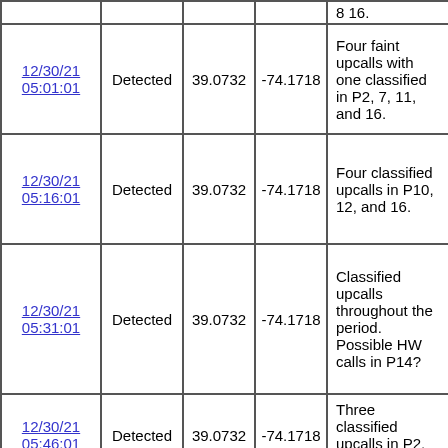| Date/Time | Status | Lat | Lon | Notes |
| --- | --- | --- | --- | --- |
| 12/30/21 05:01:01 | Detected | 39.0732 | -74.1718 | Four faint upcalls with one classified in P2, 7, 11, and 16. |
| 12/30/21 05:16:01 | Detected | 39.0732 | -74.1718 | Four classified upcalls in P10, 12, and 16. |
| 12/30/21 05:31:01 | Detected | 39.0732 | -74.1718 | Classified upcalls throughout the period. Possible HW calls in P14? |
| 12/30/21 05:46:01 | Detected | 39.0732 | -74.1718 | Three classified upcalls in P2, 5, and ... |